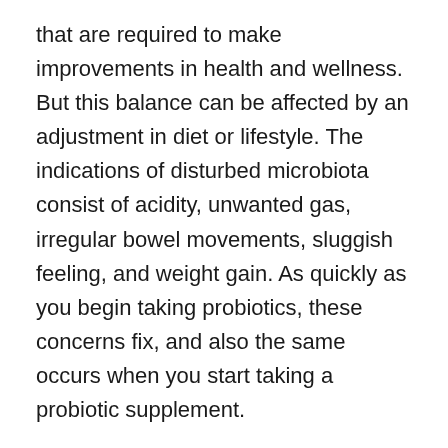that are required to make improvements in health and wellness. But this balance can be affected by an adjustment in diet or lifestyle. The indications of disturbed microbiota consist of acidity, unwanted gas, irregular bowel movements, sluggish feeling, and weight gain. As quickly as you begin taking probiotics, these concerns fix, and also the same occurs when you start taking a probiotic supplement.
From the information gathered, LeanBiome can easily be described as one of the top probiotic supplements these days, and also there are plenty of factors to trust this product. According to the main internet site, it controls brain and body sychronisation and manages the psychological and physical sides of excessive weight at the